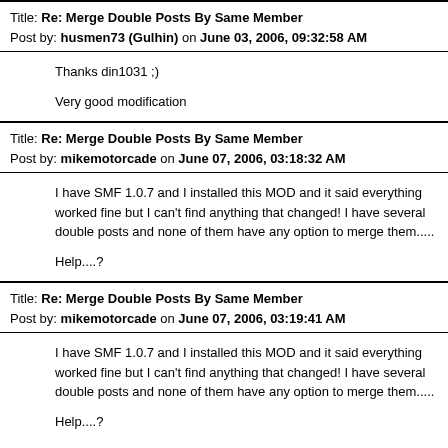Title: Re: Merge Double Posts By Same Member
Post by: husmen73 (Gulhin) on June 03, 2006, 09:32:58 AM
Thanks din1031 ;)

Very good modification
Title: Re: Merge Double Posts By Same Member
Post by: mikemotorcade on June 07, 2006, 03:18:32 AM
I have SMF 1.0.7 and I installed this MOD and it said everything worked fine but I can't find anything that changed! I have several double posts and none of them have any option to merge them.....

Help....?
Title: Re: Merge Double Posts By Same Member
Post by: mikemotorcade on June 07, 2006, 03:19:41 AM
I have SMF 1.0.7 and I installed this MOD and it said everything worked fine but I can't find anything that changed! I have several double posts and none of them have any option to merge them.....

Help....?